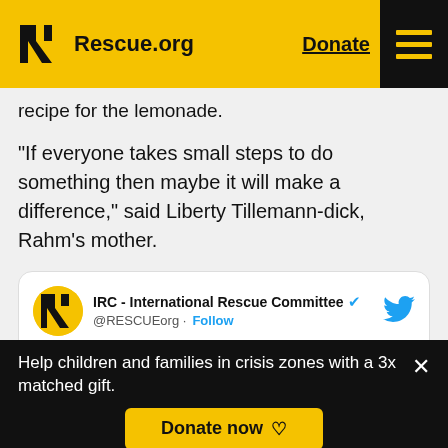Rescue.org | Donate | navigation menu
recipe for the lemonade.
"If everyone takes small steps to do something then maybe it will make a difference," said Liberty Tillemann-dick, Rahm's mother.
[Figure (screenshot): Embedded tweet from IRC - International Rescue Committee @RESCUEorg with Follow button and Twitter bird icon. Tweet text: Two 5-year-old Colorado cousins stepped up to create a lemonade stand with all]
Help children and families in crisis zones with a 3x matched gift. Donate now